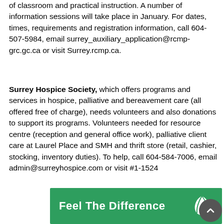complete a basic training program that consists of 200 hours of classroom and practical instruction. A number of information sessions will take place in January. For dates, times, requirements and registration information, call 604-507-5984, email surrey_auxiliary_application@rcmp-grc.gc.ca or visit Surrey.rcmp.ca.
Surrey Hospice Society, which offers programs and services in hospice, palliative and bereavement care (all offered free of charge), needs volunteers and also donations to support its programs. Volunteers needed for resource centre (reception and general office work), palliative client care at Laurel Place and SMH and thrift store (retail, cashier, stocking, inventory duties). To help, call 604-584-7006, email admin@surreyhospice.com or visit #1-1524
[Figure (illustration): Green banner with white bold text 'Feel The Difference' and a white leaf logo on the right side]